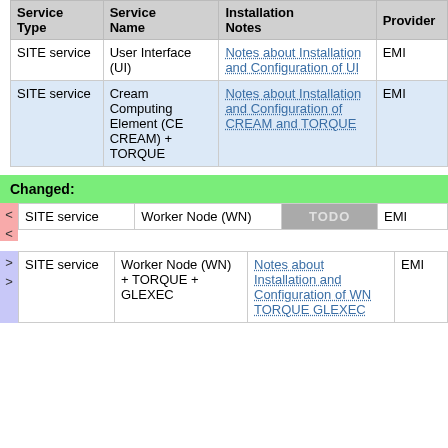| Service Type | Service Name | Installation Notes | Provider |
| --- | --- | --- | --- |
| SITE service | User Interface (UI) | Notes about Installation and Configuration of UI | EMI |
| SITE service | Cream Computing Element (CE CREAM) + TORQUE | Notes about Installation and Configuration of CREAM and TORQUE | EMI |
Changed:
| Service Type | Service Name | Installation Notes | Provider |
| --- | --- | --- | --- |
| SITE service | Worker Node (WN) | TODO | EMI |
| SITE service | Worker Node (WN) + TORQUE + GLEXEC | Notes about Installation and Configuration of WN TORQUE GLEXEC | EMI |